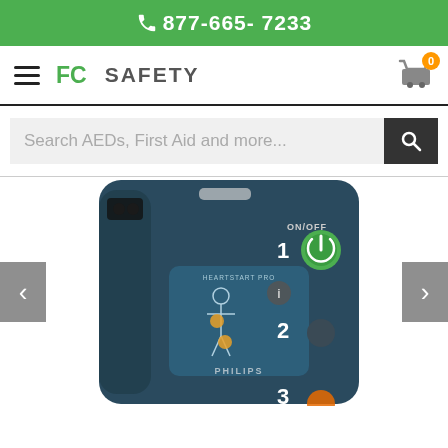877-665-7233
[Figure (logo): FC Safety logo with hamburger menu and shopping cart with badge showing 0]
[Figure (other): Search bar with placeholder text: Search AEDs, First Aid and more...]
[Figure (photo): Philips HeartStart AED device shown in teal/dark blue color with ON/OFF button labeled 1, step 2 button, and PHILIPS branding. Carousel arrows on left and right sides.]